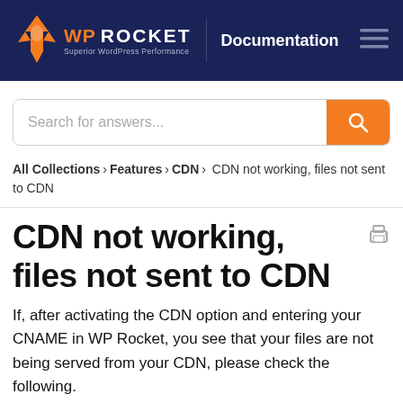WP ROCKET | Documentation
Search for answers...
All Collections > Features > CDN > CDN not working, files not sent to CDN
CDN not working, files not sent to CDN
If, after activating the CDN option and entering your CNAME in WP Rocket, you see that your files are not being served from your CDN, please check the following.